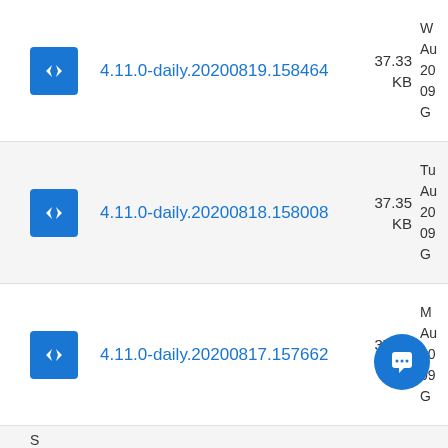4.11.0-daily.20200819.158464 | 37.33 KB | W Au 20 09 G
4.11.0-daily.20200818.158008 | 37.35 KB | Tu Au 20 09 G
4.11.0-daily.20200817.157662 | 37.37 KB | M Au 20 09 G